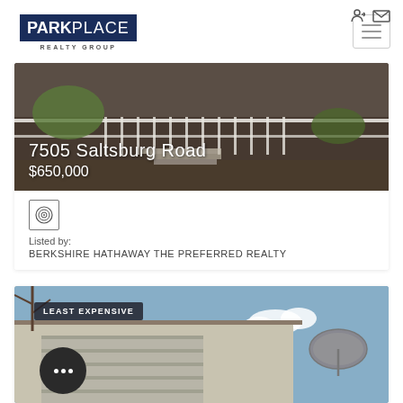[Figure (logo): Park Place Realty Group logo — dark navy box with PARK in bold white and PLACE in light white, REALTY GROUP in small caps below]
[Figure (photo): Exterior photo of 7505 Saltsburg Road — brick house with white railing porch/stairs and landscaping]
7505 Saltsburg Road
$650,000
[Figure (logo): Berkshire Hathaway real estate agent logo — circular icon]
Listed by:
BERKSHIRE HATHAWAY THE PREFERRED REALTY
[Figure (photo): Exterior photo of second listing — garage/rooftop with satellite dish and blue sky, labeled LEAST EXPENSIVE]
LEAST EXPENSIVE